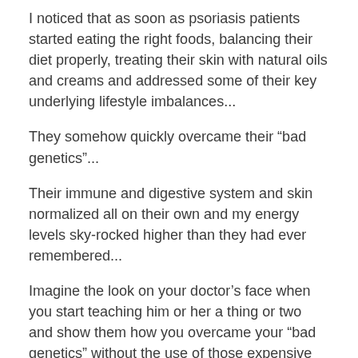I noticed that as soon as psoriasis patients started eating the right foods, balancing their diet properly, treating their skin with natural oils and creams and addressed some of their key underlying lifestyle imbalances...
They somehow quickly overcame their “bad genetics”...
Their immune and digestive system and skin normalized all on their own and my energy levels sky-rocked higher than they had ever remembered...
Imagine the look on your doctor’s face when you start teaching him or her a thing or two and show them how you overcame your “bad genetics” without the use of those expensive and toxic drugs...
Here are now the 5 key reasons why most psoriasis sufferers never seem to improve permanently,
These are the very 5 key areas that form the basis for